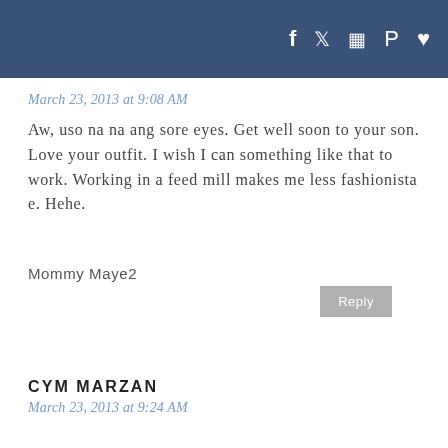f  ✦  ⊡  P  ♥
March 23, 2013 at 9:08 AM
Aw, uso na na ang sore eyes. Get well soon to your son. Love your outfit. I wish I can something like that to work. Working in a feed mill makes me less fashionista e. Hehe.
Mommy Maye2
Reply
CYM MARZAN
March 23, 2013 at 9:24 AM